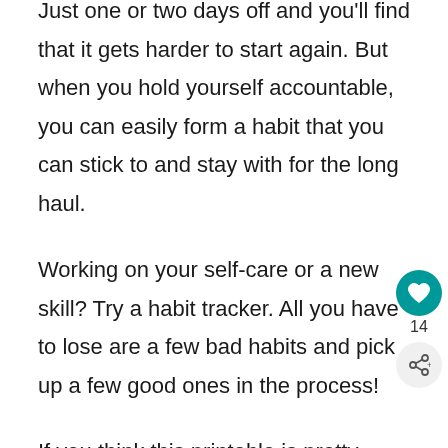Just one or two days off and you'll find that it gets harder to start again. But when you hold yourself accountable, you can easily form a habit that you can stick to and stay with for the long haul.
Working on your self-care or a new skill? Try a habit tracker. All you have to lose are a few bad habits and pick up a few good ones in the process!
If you think this printable is pretty, check